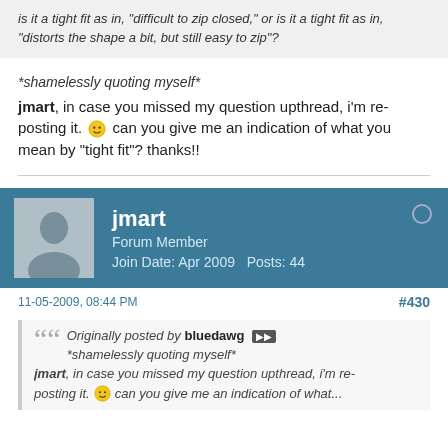is it a tight fit as in, "difficult to zip closed," or is it a tight fit as in, "distorts the shape a bit, but still easy to zip"?
*shamelessly quoting myself*
jmart, in case you missed my question upthread, i'm re-posting it. 🙂 can you give me an indication of what you mean by "tight fit"? thanks!!
jmart | Forum Member | Join Date: Apr 2009 | Posts: 44
11-05-2009, 08:44 PM
#430
Originally posted by bluedawg ▶▶
*shamelessly quoting myself*
jmart, in case you missed my question upthread, i'm re-posting it. 🙂 can you give me an indication of what you...